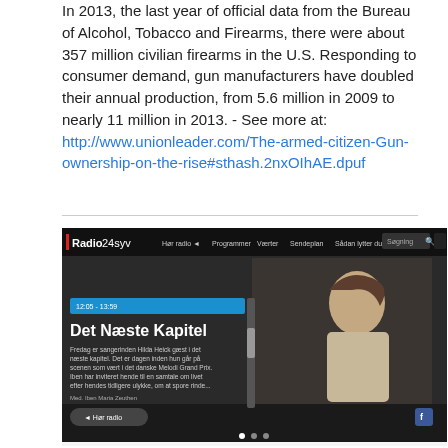In 2013, the last year of official data from the Bureau of Alcohol, Tobacco and Firearms, there were about 357 million civilian firearms in the U.S. Responding to consumer demand, gun manufacturers have doubled their annual production, from 5.6 million in 2009 to nearly 11 million in 2013. - See more at: http://www.unionleader.com/The-armed-citizen-Gun-ownership-on-the-rise#sthash.2nxOIhAE.dpuf
[Figure (screenshot): Screenshot of Radio24syv website showing a dark-themed radio station homepage with navigation bar, a featured program 'Det Næste Kapitel' with a woman in the hero image, and a 'Anbefalede programmer' section below with thumbnail cards for Den Korte Radioavis, Europa i Flammer, Aflyttet, and Et Dyreliv.]